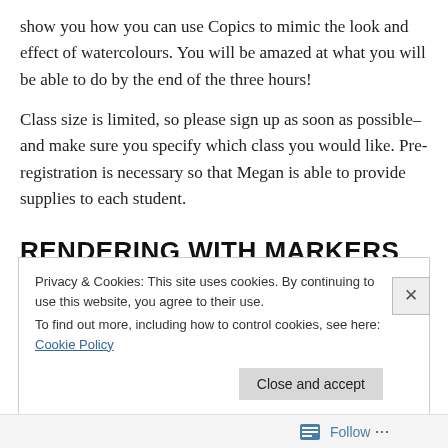show you how you can use Copics to mimic the look and effect of watercolours. You will be amazed at what you will be able to do by the end of the three hours!
Class size is limited, so please sign up as soon as possible–and make sure you specify which class you would like. Pre-registration is necessary so that Megan is able to provide supplies to each student.
RENDERING WITH MARKERS
Privacy & Cookies: This site uses cookies. By continuing to use this website, you agree to their use.
To find out more, including how to control cookies, see here: Cookie Policy
Close and accept
Follow